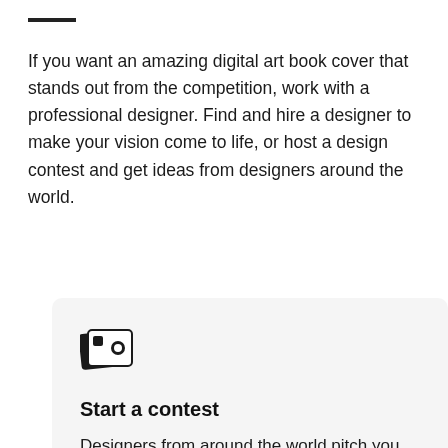If you want an amazing digital art book cover that stands out from the competition, work with a professional designer. Find and hire a designer to make your vision come to life, or host a design contest and get ideas from designers around the world.
[Figure (illustration): Icon showing overlapping image/photo cards (design contest icon), dark/black color]
Start a contest
Designers from around the world pitch you ideas. You provide feedback, hone your favorites and choose a winner.